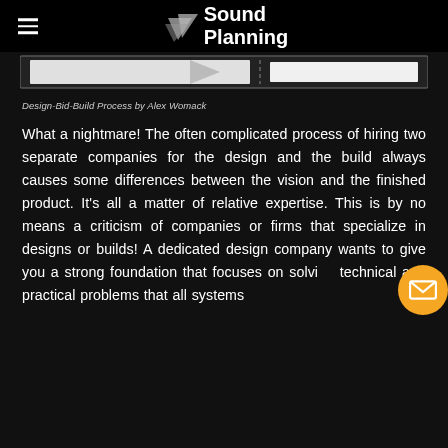Sound Planning
[Figure (engineering-diagram): Partial diagram showing a design-bid-build process flowchart, cropped at top]
Design-Bid-Build Process by Alex Womack
What a nightmare! The often complicated process of hiring two separate companies for the design and the build always causes some differences between the vision and the finished product. It's all a matter of relative expertise. This is by no means a criticism of companies or firms that specialize in designs or builds! A dedicated design company wants to give you a strong foundation that focuses on solving technical and practical problems that all systems